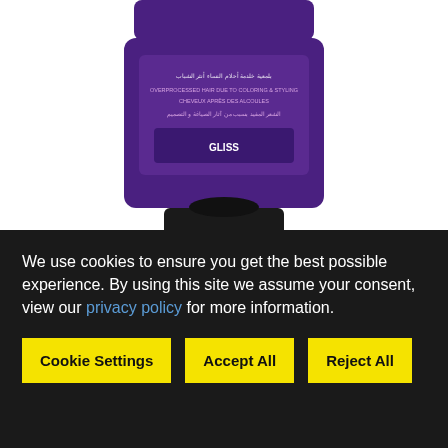[Figure (photo): Schwarzkopf Gliss Intense Therapy with Omegaplex Conditioner product jar, purple and black, top portion visible with Arabic and English text on label]
Gliss Intense Therapy with Omegaplex ® Conditioner
[Figure (photo): Schwarzkopf Gliss shampoo bottle, purple and black, with a circular badge reading NEW REPAIRS & PREVENTS FOR LASTINGLY BEAUTIFUL HAIR, Schwarzkopf logo at bottom]
We use cookies to ensure you get the best possible experience. By using this site we assume your consent, view our privacy policy for more information.
Cookie Settings | Accept All | Reject All